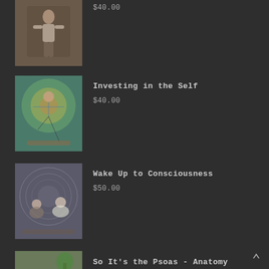$40.00
[Figure (photo): Person in yoga pose indoors]
Investing in the Self
$40.00
[Figure (photo): Person in warrior yoga pose with colorful mural background]
Wake Up to Consciousness
$50.00
[Figure (photo): Two people sitting in meditation pose with mandala tapestry background]
So It's the Psoas - Anatomy Workshop
$40.00
[Figure (photo): Group of people in a workshop room]
[Figure (photo): Partial view of another listing at bottom]